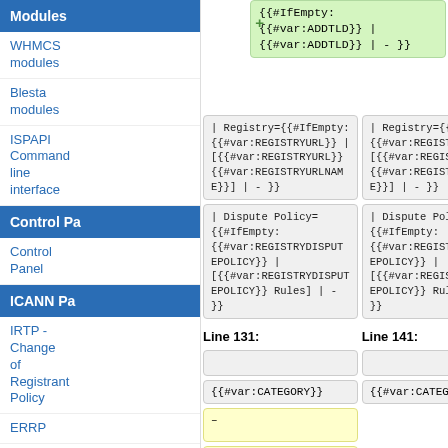Modules
WHMCS modules
Blesta modules
ISPAPI Command line interface
Control P
Control Panel
ICANN Pa
IRTP - Change of Registrant Policy
ERRP
{{#IfEmpty: {{#var:ADDTLD}} | {{#var:ADDTLD}} | - }}
| Registry={{#IfEmpty: {{#var:REGISTRYURL}} | [{#var:REGISTRYURL}} {#var:REGISTRYURLNAME}}] | - }}
| Registry={{#IfEmpty: {{#var:REGISTRYURL}} | [{#var:REGISTRYURL}} {#var:REGISTRYURLNAME}}] | - }}
| Dispute Policy= {{#IfEmpty: {{#var:REGISTRYDISPUTEPOLICY}} | [{{#var:REGISTRYDISPUTEPOLICY}} Rules] | - }}
| Dispute Policy= {{#IfEmpty: {{#var:REGISTRYDISPUTEPOLICY}} | [{{#var:REGISTRYDISPUTEPOLICY}} Rules] | - }}
Line 131:
Line 141:
{{#var:CATEGORY}}
{{#var:CATEGORY}}
–
–
<headertabs/>